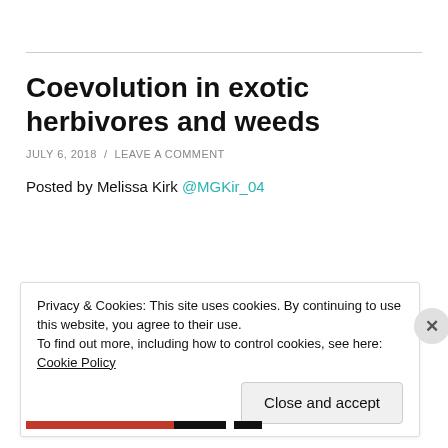Coevolution in exotic herbivores and weeds
JULY 6, 2018 / LEAVE A COMMENT
Posted by Melissa Kirk @MGKir_04
Privacy & Cookies: This site uses cookies. By continuing to use this website, you agree to their use.
To find out more, including how to control cookies, see here: Cookie Policy
Close and accept